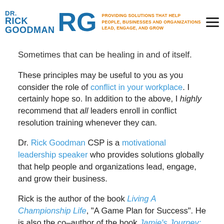DR. RICK GOODMAN RG — PROVIDING SOLUTIONS THAT HELP PEOPLE, BUSINESSES AND ORGANIZATIONS LEAD, ENGAGE, AND GROW
Sometimes that can be healing in and of itself.
These principles may be useful to you as you consider the role of conflict in your workplace. I certainly hope so. In addition to the above, I highly recommend that all leaders enroll in conflict resolution training whenever they can.
Dr. Rick Goodman CSP is a motivational leadership speaker who provides solutions globally that help people and organizations lead, engage, and grow their business.
Rick is the author of the book Living A Championship Life, "A Game Plan for Success". He is also the co–author of the book Jamie's Journey: Travels with My Dad written with his sixteen-year-old daughter Jamie.
Dr. Rick is famous for helping organizations, corporations, and individuals with systems and strategies that produce...